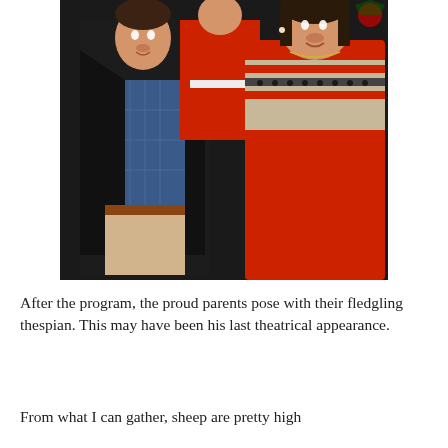[Figure (photo): A family photo showing a man in a black leather jacket over a blue plaid shirt and khaki pants, a woman in a red sweater with a Fair Isle pattern, and a child in a red outfit between them. They are posed together, smiling, with a Christmas tree visible in the background.]
After the program, the proud parents pose with their fledgling thespian. This may have been his last theatrical appearance.
From what I can gather, sheep are pretty high